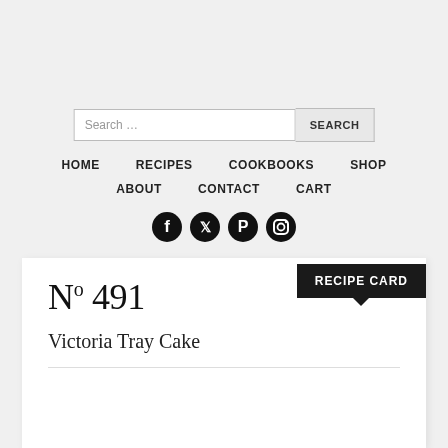Search …
HOME  RECIPES  COOKBOOKS  SHOP  ABOUT  CONTACT  CART
[Figure (infographic): Social media icons: Facebook, Twitter, Pinterest, Instagram]
N° 491
RECIPE CARD
Victoria Tray Cake